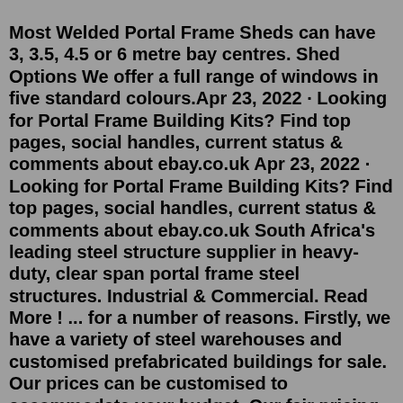Most Welded Portal Frame Sheds can have 3, 3.5, 4.5 or 6 metre bay centres. Shed Options We offer a full range of windows in five standard colours.Apr 23, 2022 · Looking for Portal Frame Building Kits? Find top pages, social handles, current status & comments about ebay.co.uk Apr 23, 2022 · Looking for Portal Frame Building Kits? Find top pages, social handles, current status & comments about ebay.co.uk South Africa's leading steel structure supplier in heavy-duty, clear span portal frame steel structures. Industrial & Commercial. Read More ! ... for a number of reasons. Firstly, we have a variety of steel warehouses and customised prefabricated buildings for sale. Our prices can be customised to accommodate your budget. Our fair pricing ...True Blue Sheds have been providing top quality street frame buildings, to our customers in the Cairns region for many years. Our sale team is made of tradespeople, these are your local experts when you need a shed, carport, barn or shelter designed and